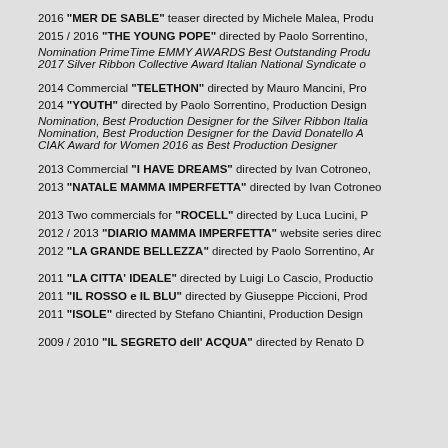2016 "MER DE SABLE" teaser directed by Michele Malea, Produ
2015 / 2016 "THE YOUNG POPE" directed by Paolo Sorrentino,
Nomination PrimeTime EMMY AWARDS Best Outstanding Produ
2017 Silver Ribbon Collective Award Italian National Syndicate o
2014 Commercial "TELETHON" directed by Mauro Mancini, Pro
2014 "YOUTH" directed by Paolo Sorrentino, Production Design
Nomination, Best Production Designer for the Silver Ribbon Italia
Nomination, Best Production Designer for the David Donatello A
CIAK Award for Women 2016 as Best Production Designer
2013 Commercial "I HAVE DREAMS" directed by Ivan Cotroneo,
2013 "NATALE MAMMA IMPERFETTA" directed by Ivan Cotroneo
2013 Two commercials for "ROCELL" directed by Luca Lucini, P
2012 / 2013 "DIARIO MAMMA IMPERFETTA" website series direc
2012 "LA GRANDE BELLEZZA" directed by Paolo Sorrentino, Ar
2011 "LA CITTA' IDEALE" directed by Luigi Lo Cascio, Productio
2011 "IL ROSSO e IL BLU" directed by Giuseppe Piccioni, Prod
2011 "ISOLE" directed by Stefano Chiantini, Production Design
2009 / 2010 "IL SEGRETO dell' ACQUA" directed by Renato D